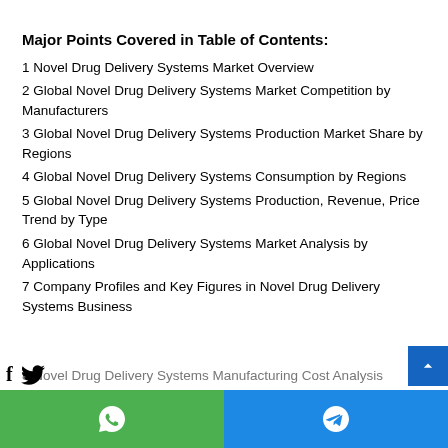Major Points Covered in Table of Contents:
1 Novel Drug Delivery Systems Market Overview
2 Global Novel Drug Delivery Systems Market Competition by Manufacturers
3 Global Novel Drug Delivery Systems Production Market Share by Regions
4 Global Novel Drug Delivery Systems Consumption by Regions
5 Global Novel Drug Delivery Systems Production, Revenue, Price Trend by Type
6 Global Novel Drug Delivery Systems Market Analysis by Applications
7 Company Profiles and Key Figures in Novel Drug Delivery Systems Business
8 Novel Drug Delivery Systems Manufacturing Cost Analysis